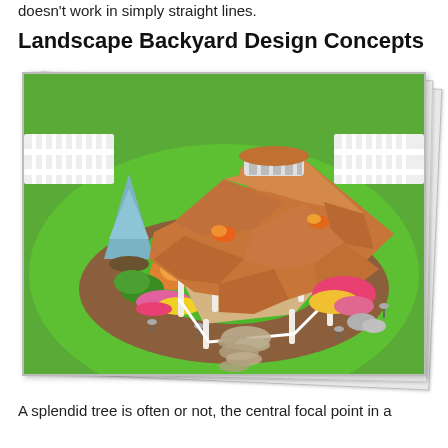doesn't work in simply straight lines.
Landscape Backyard Design Concepts
[Figure (illustration): 3D rendered landscape backyard design showing a white gazebo with a cedar shingle roof, a hot tub inside, surrounded by colorful flower gardens, blue spruce trees, landscape lighting, mulch beds, a stone pathway, and a white picket fence in the background on green lawn.]
A splendid tree is often or not, the central focal point in a